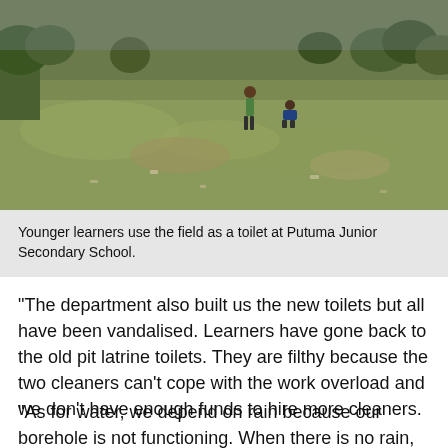[Figure (photo): Outdoor field scene showing younger learners using the field as a toilet at Putuma Junior Secondary School. Green grass field with a few children visible in the background, trees and shrubs along the perimeter.]
Younger learners use the field as a toilet at Putuma Junior Secondary School.
“The department also built us the new toilets but all have been vandalised. Learners have gone back to the old pit latrine toilets. They are filthy because the two cleaners can’t cope with the work overload and we don’t have enough funds to hire more cleaners.
“As for water, we depend on rain because our borehole is not functioning. When there is no rain, especially in winter, we buy water to keep our